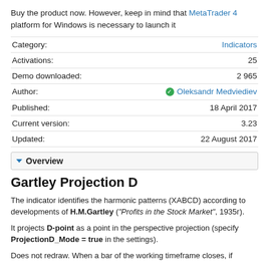Buy the product now. However, keep in mind that MetaTrader 4 platform for Windows is necessary to launch it
| Category | Value |
| --- | --- |
| Category: | Indicators |
| Activations: | 25 |
| Demo downloaded: | 2 965 |
| Author: | Oleksandr Medviediev |
| Published: | 18 April 2017 |
| Current version: | 3.23 |
| Updated: | 22 August 2017 |
▼ Overview
Gartley Projection D
The indicator identifies the harmonic patterns (XABCD) according to developments of H.M.Gartley ("Profits in the Stock Market", 1935г).
It projects D-point as a point in the perspective projection (specify ProjectionD_Mode = true in the settings).
Does not redraw. When a bar of the working timeframe closes, if